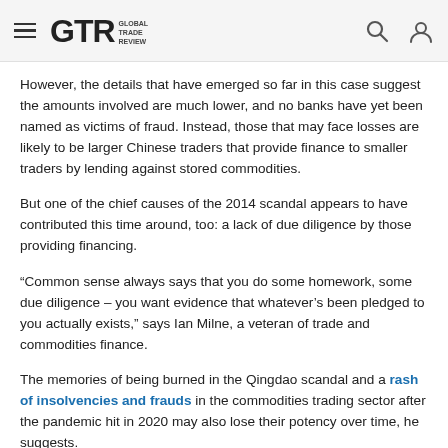GTR Global Trade Review
However, the details that have emerged so far in this case suggest the amounts involved are much lower, and no banks have yet been named as victims of fraud. Instead, those that may face losses are likely to be larger Chinese traders that provide finance to smaller traders by lending against stored commodities.
But one of the chief causes of the 2014 scandal appears to have contributed this time around, too: a lack of due diligence by those providing financing.
“Common sense always says that you do some homework, some due diligence – you want evidence that whatever’s been pledged to you actually exists,” says Ian Milne, a veteran of trade and commodities finance.
The memories of being burned in the Qingdao scandal and a rash of insolvencies and frauds in the commodities trading sector after the pandemic hit in 2020 may also lose their potency over time, he suggests.